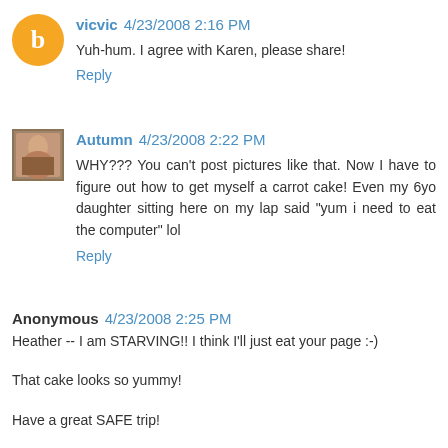[Figure (illustration): Blogger default avatar — orange circle with white 'b' letter icon]
vicvic 4/23/2008 2:16 PM
Yuh-hum. I agree with Karen, please share!
Reply
[Figure (photo): Small thumbnail photo of Autumn's avatar showing a child]
Autumn 4/23/2008 2:22 PM
WHY??? You can't post pictures like that. Now I have to figure out how to get myself a carrot cake! Even my 6yo daughter sitting here on my lap said "yum i need to eat the computer" lol
Reply
Anonymous 4/23/2008 2:25 PM
Heather -- I am STARVING!! I think I'll just eat your page :-)
That cake looks so yummy!
Have a great SAFE trip!